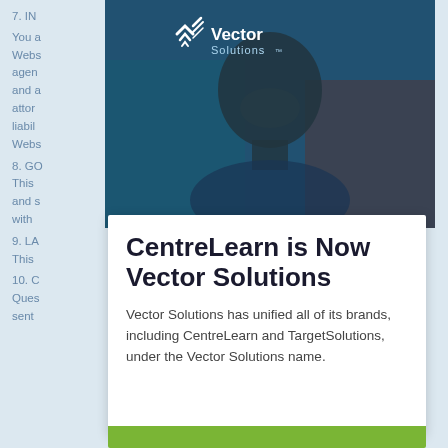7. IN... You a... Website... yees, agents, ...by and a... attorneys... liabilit... Website... u.
8. GO... This ...er and s... ...ce with...
9. LA... This ...4. 10. C... Questions... d be sent ...ns,
[Figure (photo): Hero image of a smiling young man with a blue-tinted overlay and the Vector Solutions logo at top center]
CentreLearn is Now Vector Solutions
Vector Solutions has unified all of its brands, including CentreLearn and TargetSolutions, under the Vector Solutions name.